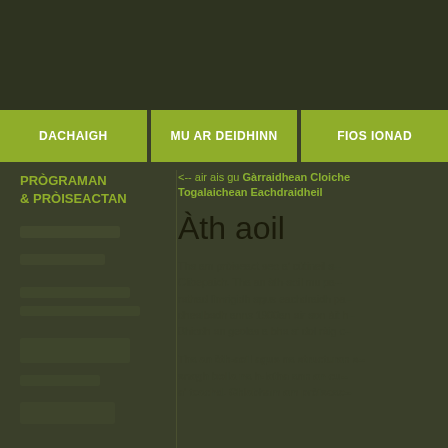DACHAIGH | MU AR DEIDHINN | FIOS IONAD
PRÒGRAMAN & PRÒISEACTAN
<-- air ais gu Gàrraidhean Cloiche Togalaichean Eachdraidheil
Àth aoil
Tha am pròiseact seo a' cùtineil a-- Clibepaich. Tha an àth-aoil mu pa-- rathad lìmrigidh agus eachdraidh pa-- dhealbadh anns 1900an air aon àit h-- Bhiodh an geolas a bha a' dol ràig c--
Tha an àth-aoil agus na structuran s-- snagh bolla na h-latha ann an cu-- a' teachd. Ghiabham am pròiseac--